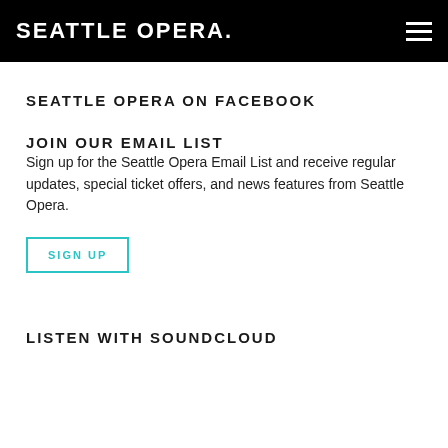SEATTLE OPERA.
SEATTLE OPERA ON FACEBOOK
JOIN OUR EMAIL LIST
Sign up for the Seattle Opera Email List and receive regular updates, special ticket offers, and news features from Seattle Opera.
SIGN UP
LISTEN WITH SOUNDCLOUD